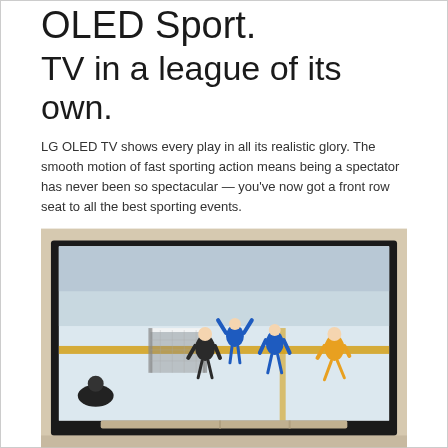OLED Sport.
TV in a league of its own.
LG OLED TV shows every play in all its realistic glory. The smooth motion of fast sporting action means being a spectator has never been so spectacular — you've now got a front row seat to all the best sporting events.
[Figure (photo): An LG OLED TV mounted on a beige wall displaying a hockey game — players in blue and yellow jerseys on an ice rink with a goal net visible.]
OLED Motion Pro